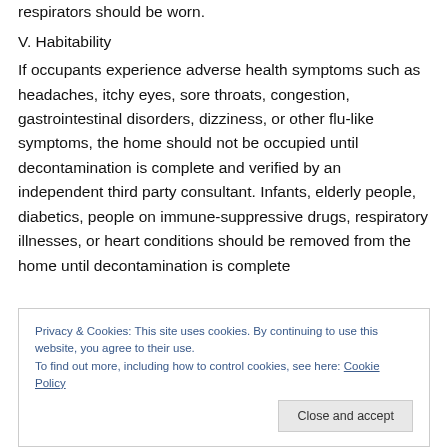respirators should be worn.
V. Habitability
If occupants experience adverse health symptoms such as headaches, itchy eyes, sore throats, congestion, gastrointestinal disorders, dizziness, or other flu-like symptoms, the home should not be occupied until decontamination is complete and verified by an independent third party consultant. Infants, elderly people, diabetics, people on immune-suppressive drugs, respiratory illnesses, or heart conditions should be removed from the home until decontamination is complete
Privacy & Cookies: This site uses cookies. By continuing to use this website, you agree to their use.
To find out more, including how to control cookies, see here: Cookie Policy
advised that a minimum about third party should be about